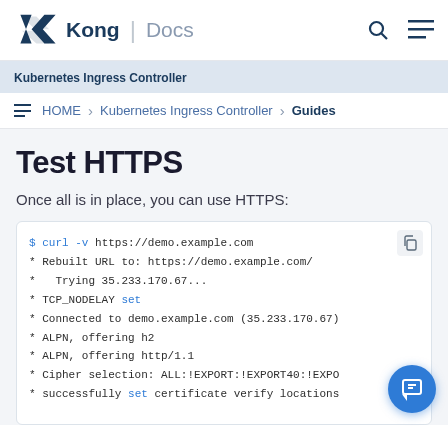Kong | Docs
Kubernetes Ingress Controller
HOME > Kubernetes Ingress Controller > Guides
Test HTTPS
Once all is in place, you can use HTTPS:
$ curl -v https://demo.example.com
* Rebuilt URL to: https://demo.example.com/
*   Trying 35.233.170.67...
* TCP_NODELAY set
* Connected to demo.example.com (35.233.170.67)
* ALPN, offering h2
* ALPN, offering http/1.1
* Cipher selection: ALL:!EXPORT:!EXPORT40:!EXPO
* successfully set certificate verify locations